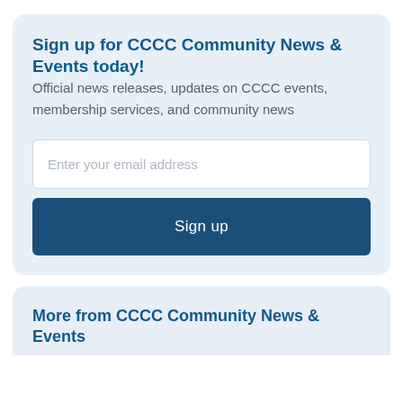Sign up for CCCC Community News & Events today!
Official news releases, updates on CCCC events, membership services, and community news
Enter your email address
Sign up
More from CCCC Community News & Events